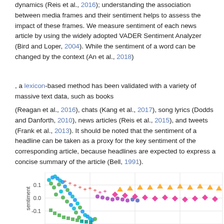dynamics (Reis et al., 2016); understanding the association between media frames and their sentiment helps to assess the impact of these frames. We measure sentiment of each news article by using the widely adopted VADER Sentiment Analyzer (Bird and Loper, 2004). While the sentiment of a word can be changed by the context (An et al., 2018)
, a lexicon-based method has been validated with a variety of massive text data, such as books
(Reagan et al., 2016), chats (Kang et al., 2017), song lyrics (Dodds and Danforth, 2010), news articles (Reis et al., 2015), and tweets (Frank et al., 2013). It should be noted that the sentiment of a headline can be taken as a proxy for the key sentiment of the corresponding article, because headlines are expected to express a concise summary of the article (Bell, 1991).
[Figure (scatter-plot): Scatter plot showing sentiment vs time (truncated at bottom of page). Y-axis shows sentiment values from -0.1 to 0.1. Multiple colored marker types (circles, triangles, diamonds, squares, plus signs) representing different data series spread across the plot area.]